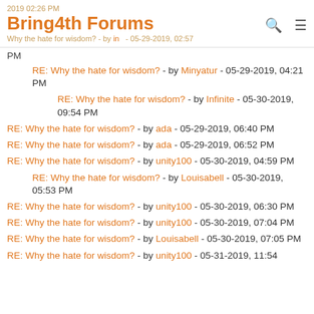Bring4th Forums
RE: Why the hate for wisdom? - by Minyatur - 05-29-2019, 04:21 PM
RE: Why the hate for wisdom? - by Infinite - 05-30-2019, 09:54 PM
RE: Why the hate for wisdom? - by ada - 05-29-2019, 06:40 PM
RE: Why the hate for wisdom? - by ada - 05-29-2019, 06:52 PM
RE: Why the hate for wisdom? - by unity100 - 05-30-2019, 04:59 PM
RE: Why the hate for wisdom? - by Louisabell - 05-30-2019, 05:53 PM
RE: Why the hate for wisdom? - by unity100 - 05-30-2019, 06:30 PM
RE: Why the hate for wisdom? - by unity100 - 05-30-2019, 07:04 PM
RE: Why the hate for wisdom? - by Louisabell - 05-30-2019, 07:05 PM
RE: Why the hate for wisdom? - by unity100 - 05-31-2019, 11:54